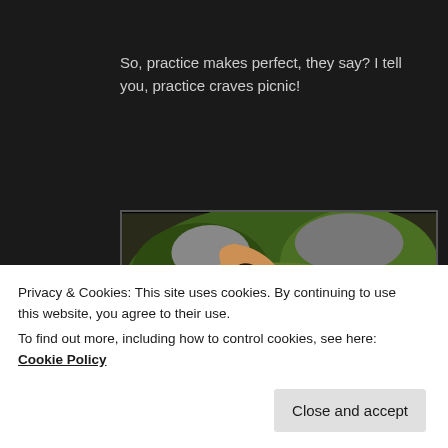So, practice makes perfect, they say? I tell you, practice craves picnic!
[Figure (photo): Outdoor picnic scene showing pastries and baked goods on wooden plates arranged on grass, with a person's hand reaching in from above, rocks and foliage in the background.]
Privacy & Cookies: This site uses cookies. By continuing to use this website, you agree to their use.
To find out more, including how to control cookies, see here: Cookie Policy